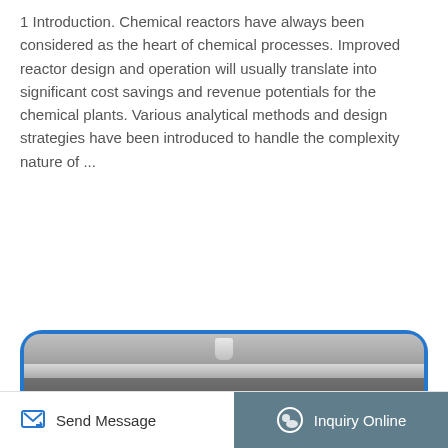1 Introduction. Chemical reactors have always been considered as the heart of chemical processes. Improved reactor design and operation will usually translate into significant cost savings and revenue potentials for the chemical plants. Various analytical methods and design strategies have been introduced to handle the complexity nature of ...
Get Details —
[Figure (photo): Photograph of a chemical reactor or laboratory equipment showing a metallic device with a cylindrical knob on top, a gray/silver surface, and dark body with ventilation slots at the bottom, framed with a blue rounded border.]
Send Message
Inquiry Online